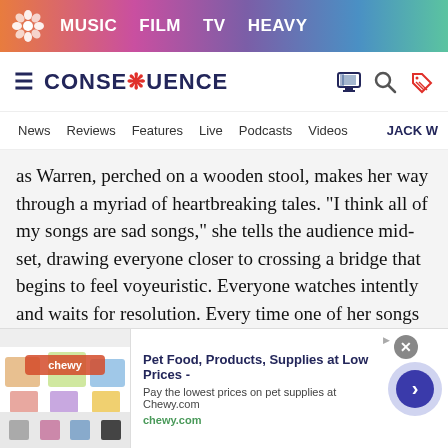MUSIC  FILM  TV  HEAVY
CONSEQUENCE
News  Reviews  Features  Live  Podcasts  Videos  JACK W
as Warren, perched on a wooden stool, makes her way through a myriad of heartbreaking tales. “I think all of my songs are sad songs,” she tells the audience mid-set, drawing everyone closer to crossing a bridge that begins to feel voyeuristic. Everyone watches intently and waits for resolution. Every time one of her songs progresses, the ambient chatter in the room reduces to a minimum or extinguishes completely. The atmosphere is
[Figure (screenshot): Advertisement banner for Chewy.com: Pet Food, Products, Supplies at Low Prices - Pay the lowest prices on pet supplies at Chewy.com]